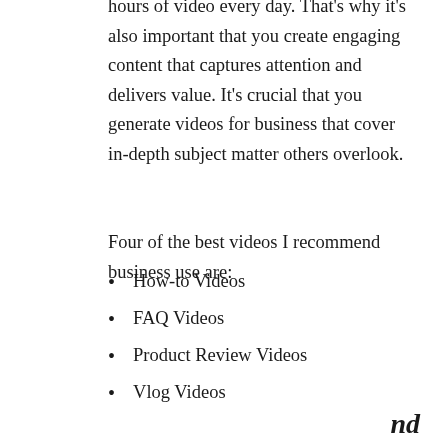hours of video every day. That's why it's also important that you create engaging content that captures attention and delivers value. It's crucial that you generate videos for business that cover in-depth subject matter others overlook.
Four of the best videos I recommend business use are:
How-to Videos
FAQ Videos
Product Review Videos
Vlog Videos
nd